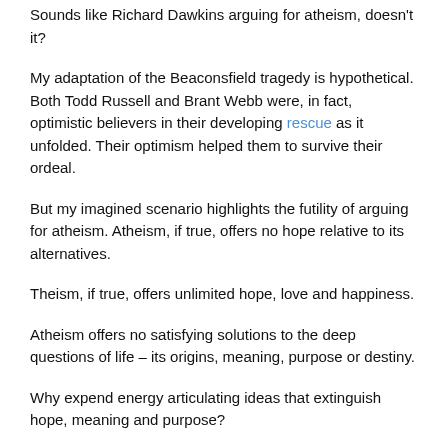Sounds like Richard Dawkins arguing for atheism, doesn't it?
My adaptation of the Beaconsfield tragedy is hypothetical. Both Todd Russell and Brant Webb were, in fact, optimistic believers in their developing rescue as it unfolded. Their optimism helped them to survive their ordeal.
But my imagined scenario highlights the futility of arguing for atheism. Atheism, if true, offers no hope relative to its alternatives.
Theism, if true, offers unlimited hope, love and happiness.
Atheism offers no satisfying solutions to the deep questions of life – its origins, meaning, purpose or destiny.
Why expend energy articulating ideas that extinguish hope, meaning and purpose?
Perfect love allows freedom to believe that faith in God is